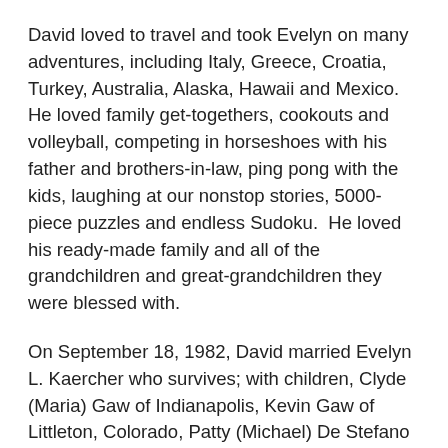David loved to travel and took Evelyn on many adventures, including Italy, Greece, Croatia, Turkey, Australia, Alaska, Hawaii and Mexico.  He loved family get-togethers, cookouts and volleyball, competing in horseshoes with his father and brothers-in-law, ping pong with the kids, laughing at our nonstop stories, 5000-piece puzzles and endless Sudoku.  He loved his ready-made family and all of the grandchildren and great-grandchildren they were blessed with.
On September 18, 1982, David married Evelyn L. Kaercher who survives; with children, Clyde (Maria) Gaw of Indianapolis, Kevin Gaw of Littleton, Colorado, Patty (Michael) De Stefano of South Bend, Tony (Bridgette) Gaw of Sheridan, Indiana, Tim (Lora) Gaw of Walkerton, and Kirk Gaw of Los Angeles, California; many grandchildren and great-grandchildren; and brothers, Dennis (Karen) Wilmeth of Baltimore, Maryland, and